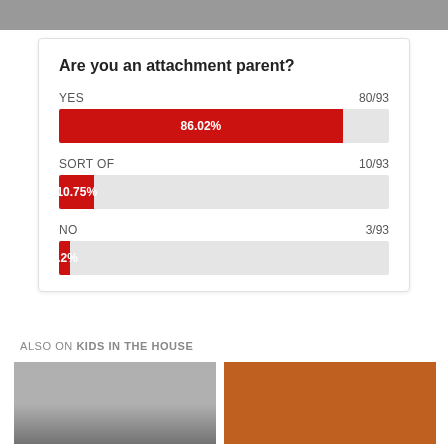[Figure (photo): Partial image at the top of the page, cropped]
[Figure (bar-chart): Are you an attachment parent?]
ALSO ON KIDS IN THE HOUSE
[Figure (photo): Bottom left image - dark toned photo]
[Figure (photo): Bottom right image - orange toned photo with light streaks]